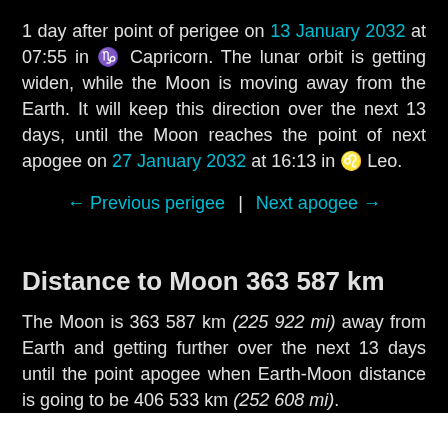1 day after point of perigee on 13 January 2032 at 07:55 in ♑ Capricorn. The lunar orbit is getting widen, while the Moon is moving away from the Earth. It will keep this direction over the next 13 days, until the Moon reaches the point of next apogee on 27 January 2032 at 16:13 in ♌ Leo.
← Previous perigee | Next apogee →
Distance to Moon 363 587 km
The Moon is 363 587 km (225 922 mi) away from Earth and getting further over the next 13 days until the point apogee when Earth-Moon distance is going to be 406 533 km (252 608 mi).